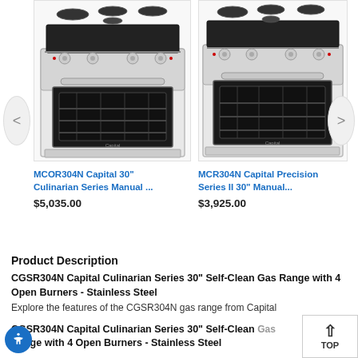[Figure (photo): Product carousel showing two gas range ovens side by side with navigation arrows. Left: MCOR304N Capital 30 Culinarian Series. Right: MCR304N Capital Precision Series II 30.]
MCOR304N Capital 30" Culinarian Series Manual ...
$5,035.00
MCR304N Capital Precision Series II 30" Manual...
$3,925.00
Product Description
CGSR304N Capital Culinarian Series 30" Self-Clean Gas Range with 4 Open Burners - Stainless Steel
Explore the features of the CGSR304N gas range from Capital
CGSR304N Capital Culinarian Series 30" Self-Clean Gas Range with 4 Open Burners - Stainless Steel